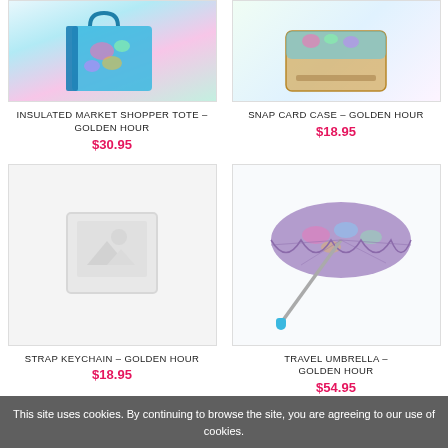[Figure (photo): Partial view of Insulated Market Shopper Tote in Golden Hour floral pattern]
[Figure (photo): Partial view of Snap Card Case in Golden Hour pattern]
INSULATED MARKET SHOPPER TOTE – GOLDEN HOUR
$30.95
SNAP CARD CASE – GOLDEN HOUR
$18.95
[Figure (photo): Placeholder image for Strap Keychain – Golden Hour]
[Figure (photo): Travel Umbrella in Golden Hour floral pattern, compact folded umbrella]
STRAP KEYCHAIN – GOLDEN HOUR
$18.95
TRAVEL UMBRELLA – GOLDEN HOUR
$54.95
This site uses cookies. By continuing to browse the site, you are agreeing to our use of cookies.